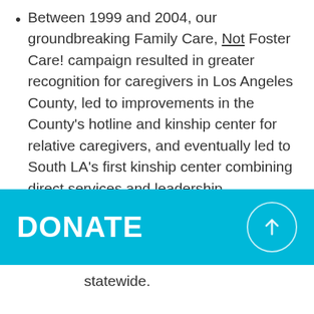Between 1999 and 2004, our groundbreaking Family Care, Not Foster Care! campaign resulted in greater recognition for caregivers in Los Angeles County, led to improvements in the County's hotline and kinship center for relative caregivers, and eventually led to South LA's first kinship center combining direct services and leadership development for relative caregivers.
2006: Relative caregivers partnered with then-Assemblymember Karen Bass...
DONATE
statewide.